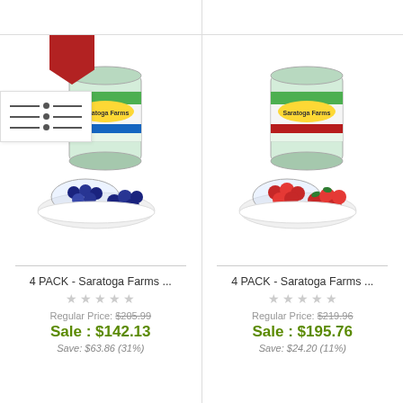[Figure (photo): Product photo: can of Saratoga Farms freeze-dried blueberries with a bowl of blueberries on a white plate]
4 PACK - Saratoga Farms ...
Regular Price: $205.99
Sale : $142.13
Save: $63.86 (31%)
[Figure (photo): Product photo: can of Saratoga Farms freeze-dried raspberries with a bowl of raspberries on a white plate]
4 PACK - Saratoga Farms ...
Regular Price: $219.96
Sale : $195.76
Save: $24.20 (11%)